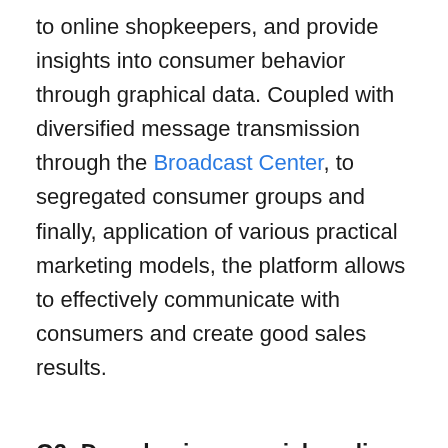to online shopkeepers, and provide insights into consumer behavior through graphical data. Coupled with diversified message transmission through the Broadcast Center, to segregated consumer groups and finally, application of various practical marketing models, the platform allows to effectively communicate with consumers and create good sales results.
Q3: Does having a social media presence help online shop sales?